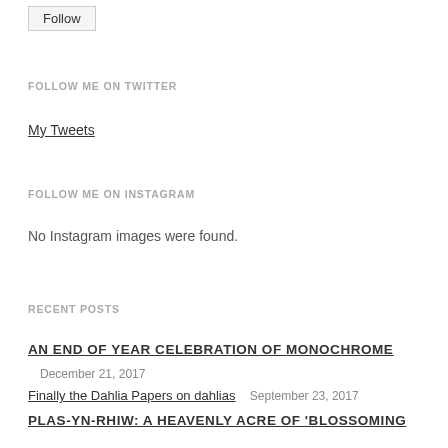Follow
FOLLOW ME ON TWITTER
My Tweets
FOLLOW ME ON INSTAGRAM
No Instagram images were found.
RECENT POSTS
AN END OF YEAR CELEBRATION OF MONOCHROME
December 21, 2017
Finally the Dahlia Papers on dahlias  September 23, 2017
PLAS-YN-RHIW: A HEAVENLY ACRE OF 'BLOSSOMING